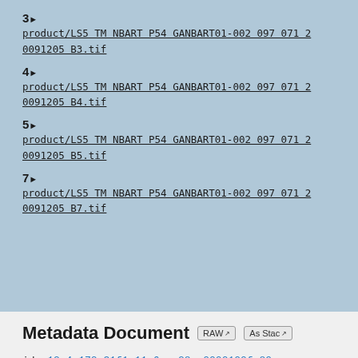3▶
product/LS5 TM NBART P54 GANBART01-002 097 071 20091205 B3.tif
4▶
product/LS5 TM NBART P54 GANBART01-002 097 071 20091205 B4.tif
5▶
product/LS5 TM NBART P54 GANBART01-002 097 071 20091205 B5.tif
7▶
product/LS5 TM NBART P54 GANBART01-002 097 071 20091205 B7.tif
Metadata Document
id: 12c4a172-31f1-11e6-ae28-a0000100fe80
ga_label: LS5_TM_NBART_P54_GANBART01-002_09...